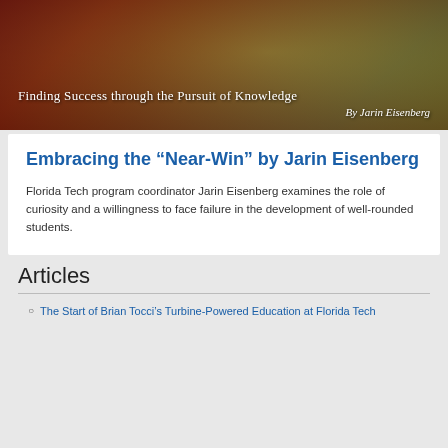[Figure (photo): Hero image showing graduates tossing caps into the air with text overlay: 'Finding Success through the Pursuit of Knowledge' and 'By Jarin Eisenberg']
Embracing the “Near-Win” by Jarin Eisenberg
Florida Tech program coordinator Jarin Eisenberg examines the role of curiosity and a willingness to face failure in the development of well-rounded students.
Articles
The Start of Brian Tocci’s Turbine-Powered Education at Florida Tech